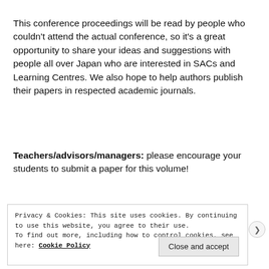This conference proceedings will be read by people who couldn't attend the actual conference, so it's a great opportunity to share your ideas and suggestions with people all over Japan who are interested in SACs and Learning Centres. We also hope to help authors publish their papers in respected academic journals.
Teachers/advisors/managers: please encourage your students to submit a paper for this volume!
Privacy & Cookies: This site uses cookies. By continuing to use this website, you agree to their use.
To find out more, including how to control cookies, see here: Cookie Policy